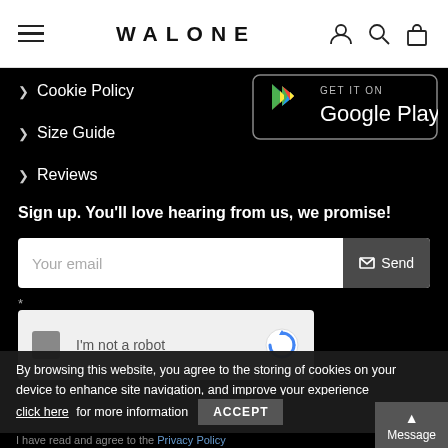WALONE — navigation header with hamburger menu, logo, account/search/bag icons
> Cookie Policy
> Size Guide
> Reviews
[Figure (screenshot): GET IT ON Google Play badge — black rounded rectangle with Google Play triangle logo and text]
Sign up. You'll love hearing from us, we promise!
Your email — input field with Send button
* (asterisk)
[Figure (screenshot): reCAPTCHA widget — I'm not a robot checkbox with reCAPTCHA logo]
By browsing this website, you agree to the storing of cookies on your device to enhance site navigation, and improve your experience
click here for more information
I have read and agree to the Privacy Policy